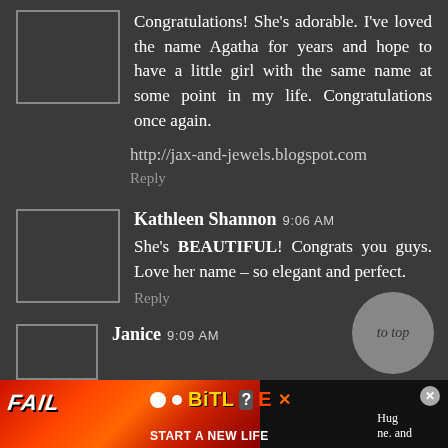Congratulations! She's adorable. I've loved the name Agatha for years and hope to have a little girl with the same name at some point in my life. Congratulations once again.
http://jax-and-jewels.blogspot.com
Reply
Kathleen Shannon 9:06 AM
She's BEAUTIFUL! Congrats you guys. Love her name – so elegant and perfect.
Reply
Janice 9:09 AM
[Figure (other): To top button (circular grey button with 'to top' text)]
[Figure (other): BitLife advertisement banner at bottom of page with FAIL text, character illustration, fire, and START A NEW LIFE text]